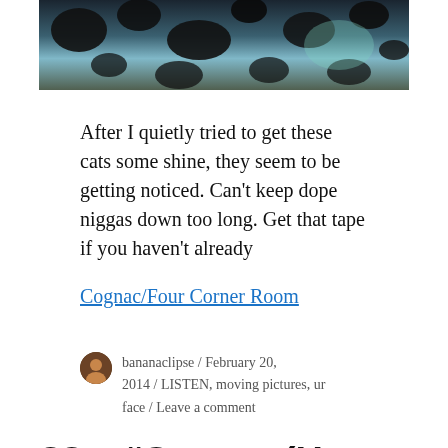[Figure (photo): Abstract dark blobs/spots on a blue-green background, partially cropped at top]
After I quietly tried to get these cats some shine, they seem to be getting noticed. Can't keep dope niggas down too long. Get that tape if you haven't already
Cognac/Four Corner Room
bananaclipse / February 20, 2014 / LISTEN, moving pictures, ur face / Leave a comment
88 – “Stunna (How It